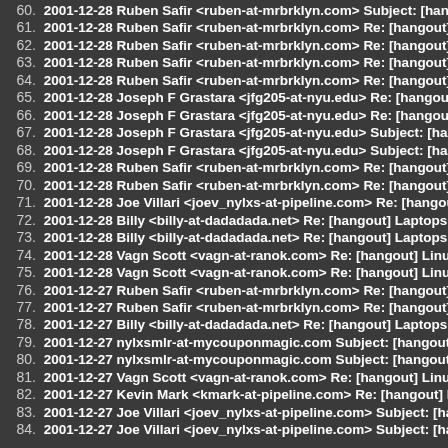60. 2001-12-28 Ruben Safir <ruben-at-mrbrklyn.com> Subject: [hangout...
61. 2001-12-28 Ruben Safir <ruben-at-mrbrklyn.com> Re: [hangout] Pub...
62. 2001-12-28 Ruben Safir <ruben-at-mrbrklyn.com> Re: [hangout] Inst...
63. 2001-12-28 Ruben Safir <ruben-at-mrbrklyn.com> Re: [hangout] Pub...
64. 2001-12-28 Ruben Safir <ruben-at-mrbrklyn.com> Re: [hangout] Pub...
65. 2001-12-28 Joseph F Grastara <jfg205-at-nyu.edu> Re: [hangout] Ins...
66. 2001-12-28 Joseph F Grastara <jfg205-at-nyu.edu> Re: [hangout] Ins...
67. 2001-12-28 Joseph F Grastara <jfg205-at-nyu.edu> Subject: [hangout...
68. 2001-12-28 Joseph F Grastara <jfg205-at-nyu.edu> Subject: [hangout...
69. 2001-12-28 Ruben Safir <ruben-at-mrbrklyn.com> Re: [hangout] Lap...
70. 2001-12-28 Ruben Safir <ruben-at-mrbrklyn.com> Re: [hangout] Lap...
71. 2001-12-28 Joe Villari <joev_nylxs-at-pipeline.com> Re: [hangout] La...
72. 2001-12-28 Billy <billy-at-dadadada.net> Re: [hangout] Laptops, Inte...
73. 2001-12-28 Billy <billy-at-dadadada.net> Re: [hangout] Laptops, Inte...
74. 2001-12-28 Vagn Scott <vagn-at-ranok.com> Re: [hangout] Linux Ad...
75. 2001-12-28 Vagn Scott <vagn-at-ranok.com> Re: [hangout] Linux Ad...
76. 2001-12-27 Ruben Safir <ruben-at-mrbrklyn.com> Re: [hangout] Linu...
77. 2001-12-27 Ruben Safir <ruben-at-mrbrklyn.com> Re: [hangout] Lap...
78. 2001-12-27 Billy <billy-at-dadadada.net> Re: [hangout] Laptops, Inte...
79. 2001-12-27 nylxsmlr-at-mycouponmagic.com Subject: [hangout] NYL...
80. 2001-12-27 nylxsmlr-at-mycouponmagic.com Subject: [hangout] NYL...
81. 2001-12-27 Vagn Scott <vagn-at-ranok.com> Re: [hangout] Linux Ad...
82. 2001-12-27 Kevin Mark <kmark-at-pipeline.com> Re: [hangout] Lapto...
83. 2001-12-27 Joe Villari <joev_nylxs-at-pipeline.com> Subject: [hangout...
84. 2001-12-27 Joe Villari <joev_nylxs-at-pipeline.com> Subject: [hangout...